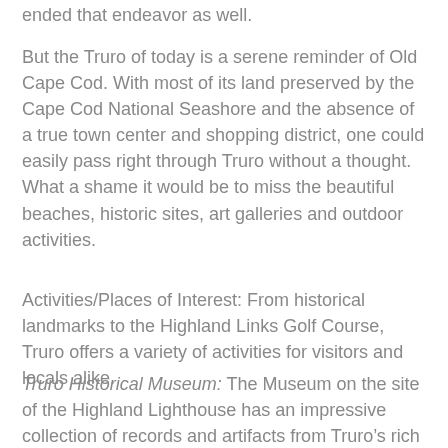ended that endeavor as well.
But the Truro of today is a serene reminder of Old Cape Cod. With most of its land preserved by the Cape Cod National Seashore and the absence of a true town center and shopping district, one could easily pass right through Truro without a thought. What a shame it would be to miss the beautiful beaches, historic sites, art galleries and outdoor activities.
Activities/Places of Interest: From historical landmarks to the Highland Links Golf Course, Truro offers a variety of activities for visitors and locals alike.
Truro Historical Museum: The Museum on the site of the Highland Lighthouse has an impressive collection of records and artifacts from Truro’s rich history. Call 508-487-3397 for more information or